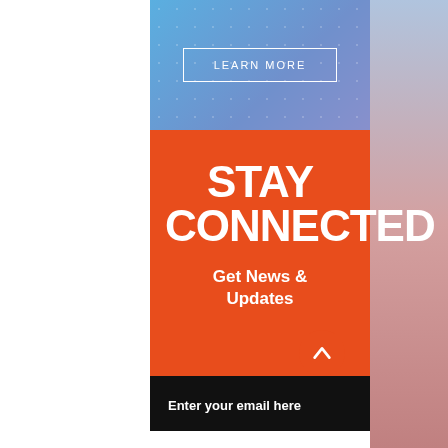[Figure (infographic): Advertisement banner with blue gradient top section containing a 'LEARN MORE' button in a white-bordered rectangle, followed by an orange section with large bold white text 'STAY CONNECTED' and subtitle 'Get News & Updates', an orange circular up-arrow button at bottom right, a black email input field labeled 'Enter your email here', and a white strip at the very bottom. The right edge of the page has a pink-salmon gradient strip.]
STAY CONNECTED
Get News & Updates
Enter your email here